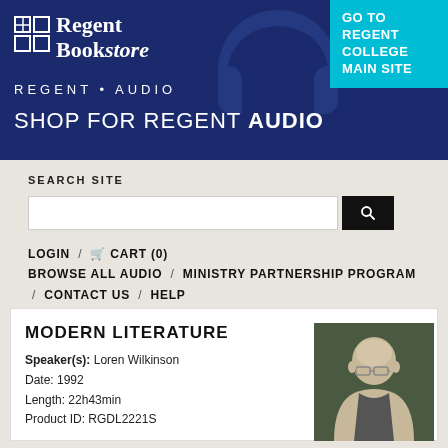[Figure (screenshot): Regent Bookstore header banner with dark navy background, logo with grid icon, 'Regent Bookstore' text, 'REGENT • AUDIO' subtitle, 'SHOP FOR REGENT AUDIO' tagline, and cyan 'GO TO REGENT COLLEGE MAIN SITE' button top-right]
SEARCH SITE
LOGIN / CART (0)
BROWSE ALL AUDIO / MINISTRY PARTNERSHIP PROGRAM / CONTACT US / HELP
MODERN LITERATURE
Speaker(s): Loren Wilkinson
Date: 1992
Length: 22h43min
Product ID: RGDL2221S
[Figure (photo): Headshot of an elderly bald man with glasses against a dark background]